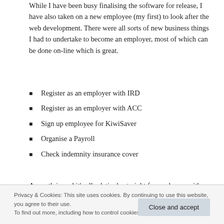While I have been busy finalising the software for release, I have also taken on a new employee (my first) to look after the web development. There were all sorts of new business things I had to undertake to become an employer, most of which can be done on-line which is great.
Register as an employer with IRD
Register as an employer with ACC
Sign up employee for KiwiSaver
Organise a Payroll
Check indemnity insurance cover
A month in and it's all relatively straight forward now, with little more required than paying additional taxes...
Privacy & Cookies: This site uses cookies. By continuing to use this website, you agree to their use. To find out more, including how to control cookies, see here: Cookie Policy